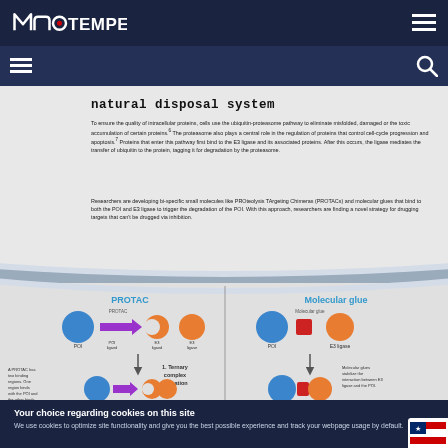NanoTemper [logo] | navigation menu
natural disposal system
To ensure the quality of intracellular proteins, cells use the ubiquitin-proteasome pathway to eliminate misfolded, damaged or the toxic accumulation of certain proteins.⁶ The proteasome also plays a central role in the regulation of proteins that control cell-cycle progression and apoptosis.⁷ Proteins that enter this pathway first bind to the E3 ligase and its associated proteins. After this occurs, the ligase mediates the transfer of ubiquitin to the protein, tagging it for degradation by the proteasome.
Researchers are developing bi-specific small molecules like PROteolysis TArgeting Chimeras (PROTACs) and molecular glues that bind to both the POI and E3 ligase to trigger the degradation of the POI. With this approach, researchers are finding a novel strategy for drugging targets that can't be drugged via inhibition.
[Figure (illustration): Scientific illustration showing two mechanisms: PROTAC and Molecular glue. PROTAC side shows POI (blue circle), POI ligand (purple arrow shape), E3 ligand (orange crescent), and E3 ligase (orange shape). Molecular glue side shows POI (blue circle), molecular glue (red square), and E3 ligase (orange shape). Both pathways show ternary complex formation (step 1). Annotations describe PROTAC having two binding regions and molecular glues stabilizing the interaction between E3 ligase and the POI. Background shows cell membrane at top.]
Your choice regarding cookies on this site
We use cookies to optimize site functionality and give you the best possible experience and track your webpage usage by default.